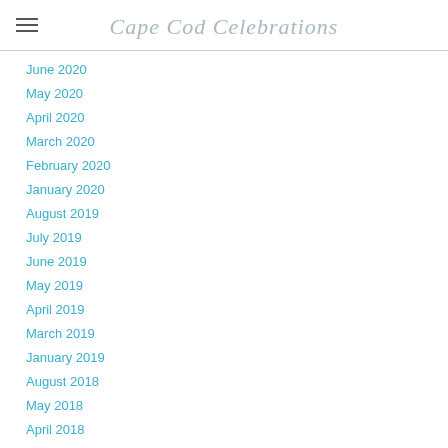Cape Cod Celebrations
June 2020
May 2020
April 2020
March 2020
February 2020
January 2020
August 2019
July 2019
June 2019
May 2019
April 2019
March 2019
January 2019
August 2018
May 2018
April 2018
February 2018
January 2018